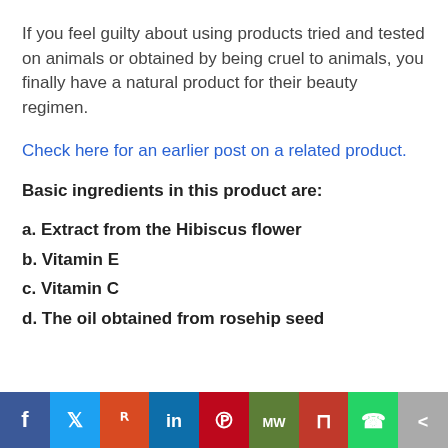If you feel guilty about using products tried and tested on animals or obtained by being cruel to animals, you finally have a natural product for their beauty regimen.
Check here for an earlier post on a related product.
Basic ingredients in this product are:
a. Extract from the Hibiscus flower
b. Vitamin E
c. Vitamin C
d. The oil obtained from rosehip seed
Social share bar: Facebook, Twitter, Reddit, LinkedIn, Pinterest, MW, Mix, WhatsApp, Share